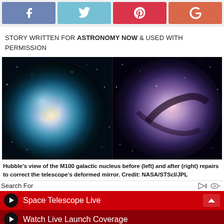[Figure (other): Social media sharing buttons: Facebook (blue), Twitter (light blue), Pinterest (red), Google+ (salmon red)]
STORY WRITTEN FOR ASTRONOMY NOW & USED WITH PERMISSION
[Figure (photo): Two side-by-side Hubble Space Telescope images of the M100 galactic nucleus. Left image shows blurry blue-tinted view before mirror repair. Right image shows sharper purple-toned view after mirror repair.]
Hubble's view of the M100 galactic nucleus before (left) and after (right) repairs to correct the telescope's deformed mirror. Credit: NASA/STScI/JPL
Search For
Space Telescope Live
Watch Live Launch Coverage